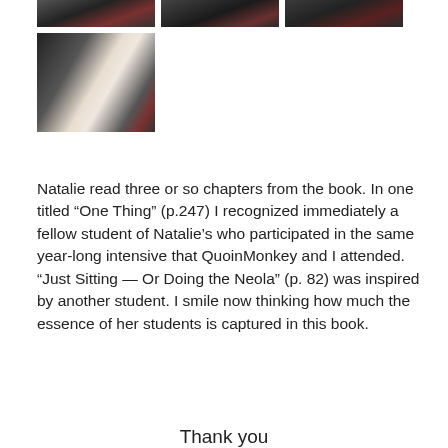[Figure (photo): Three cropped photo strips at top showing people in dark tones with red clothing accents]
[Figure (photo): Photo of hands writing in a notebook/book, person wearing red, dark background]
Natalie read three or so chapters from the book. In one titled “One Thing” (p.247) I recognized immediately a fellow student of Natalie’s who participated in the same year-long intensive that QuoinMonkey and I attended. “Just Sitting — Or Doing the Neola” (p. 82) was inspired by another student. I smile now thinking how much the essence of her students is captured in this book.
Thank you